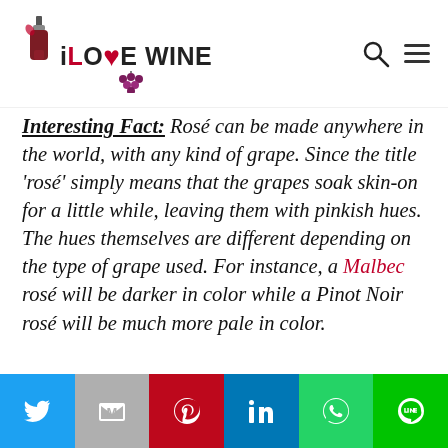iLOVEWINE
Interesting Fact: Rosé can be made anywhere in the world, with any kind of grape. Since the title 'rosé' simply means that the grapes soak skin-on for a little while, leaving them with pinkish hues. The hues themselves are different depending on the type of grape used. For instance, a Malbec rosé will be darker in color while a Pinot Noir rosé will be much more pale in color.
[Figure (photo): Dark red wine in glasses, close-up photo with deep red/crimson tones]
Social sharing bar: Twitter, Gmail, Pinterest, LinkedIn, WhatsApp, Line